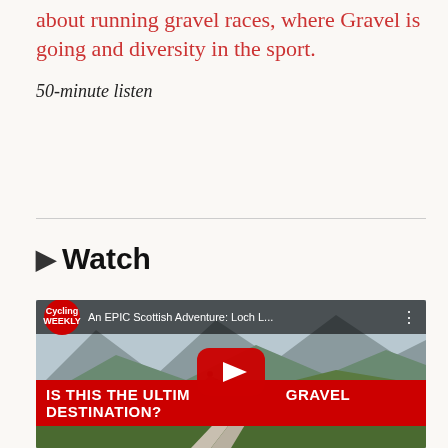about running gravel races, where Gravel is going and diversity in the sport.
50-minute listen
▶ Watch
[Figure (screenshot): YouTube video thumbnail for 'An EPIC Scottish Adventure: Loch L...' by Cycling Weekly, showing two cyclists on a gravel road in a Scottish highland landscape with mountains and green hills. Red banner at bottom reads 'IS THIS THE ULTIMATE GRAVEL DESTINATION?'. YouTube play button in center.]